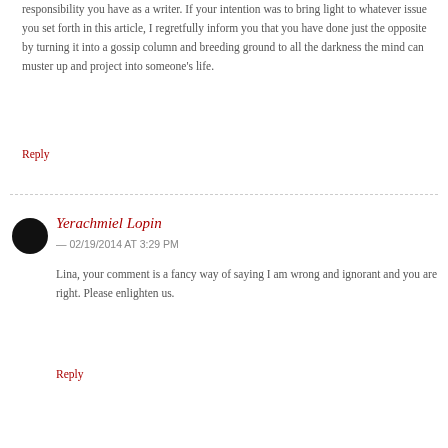responsibility you have as a writer. If your intention was to bring light to whatever issue you set forth in this article, I regretfully inform you that you have done just the opposite by turning it into a gossip column and breeding ground to all the darkness the mind can muster up and project into someone's life.
Reply
Yerachmiel Lopin
— 02/19/2014 AT 3:29 PM
Lina, your comment is a fancy way of saying I am wrong and ignorant and you are right. Please enlighten us.
Reply